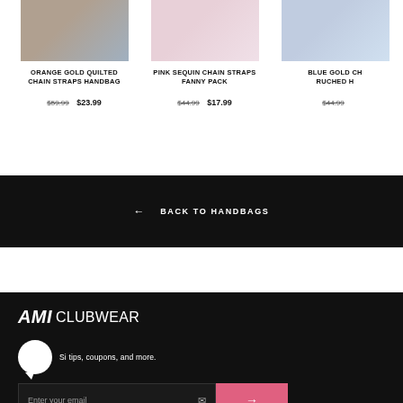[Figure (photo): Product image for Orange Gold Quilted Chain Straps Handbag]
ORANGE GOLD QUILTED CHAIN STRAPS HANDBAG
$59.99  $23.99
[Figure (photo): Product image for Pink Sequin Chain Straps Fanny Pack]
PINK SEQUIN CHAIN STRAPS FANNY PACK
$44.99  $17.99
[Figure (photo): Product image for Blue Gold Chain Ruched Handbag (partially visible)]
BLUE GOLD CH... RUCHED H...
$44.99
← BACK TO HANDBAGS
[Figure (logo): AMI CLUBWEAR logo in white italic on black background]
Si... tips, coupons, and more.
Enter your email